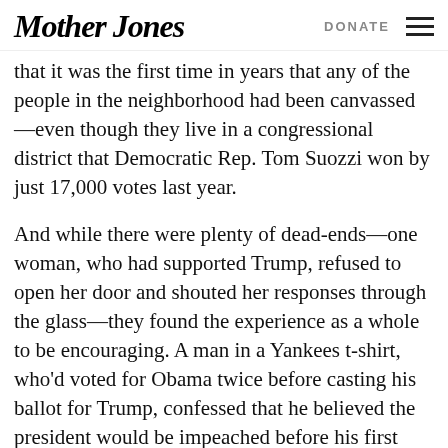Mother Jones | DONATE
that it was the first time in years that any of the people in the neighborhood had been canvassed—even though they live in a congressional district that Democratic Rep. Tom Suozzi won by just 17,000 votes last year.
And while there were plenty of dead-ends—one woman, who had supported Trump, refused to open her door and shouted her responses through the glass—they found the experience as a whole to be encouraging. A man in a Yankees t-shirt, who'd voted for Obama twice before casting his ballot for Trump, confessed that he believed the president would be impeached before his first term was up. One resident, who had supported Hillary Clinton